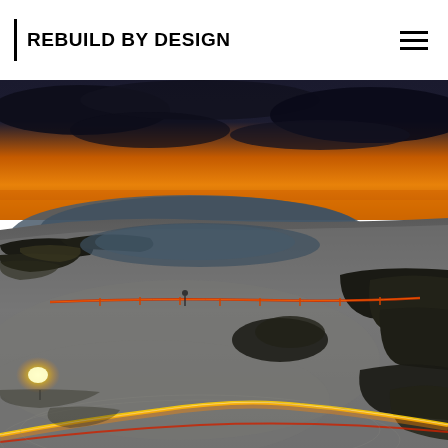REBUILD BY DESIGN
[Figure (photo): Aerial perspective rendering of a coastal landscape at dusk showing a large open sandy/muddy area with dark rocky outcroppings, a body of water, glowing orange and yellow light trails along pathways, a dramatic sunset sky with dark clouds and orange glow on the horizon.]